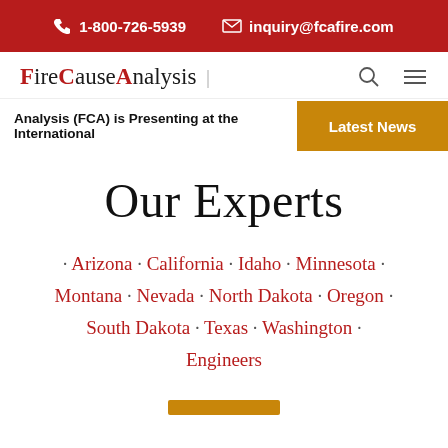1-800-726-5939   inquiry@fcafire.com
[Figure (logo): FireCauseAnalysis logo with F, C, A in red and rest in black, with search and hamburger menu icons]
Analysis (FCA) is Presenting at the International
Latest News
Our Experts
· Arizona · California · Idaho · Minnesota · Montana · Nevada · North Dakota · Oregon · South Dakota · Texas · Washington · Engineers